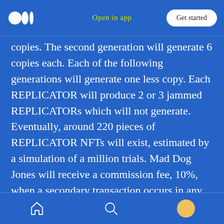Open in app  Get started
copies. The second generation will generate 6 copies each. Each of the following generations will generate one less copy. Each REPLICATOR will produce 2 or 3 jammed REPLICATORs which will not generate. Eventually, around 220 pieces of REPLICATOR NFTs will exist, estimated by a simulation of a million trials. Mad Dog Jones will receive a commission fee, 10%, when a secondary transaction occurs in any piece of REPLICATOR NFT in the future. So, is it really an artwork? If you were the buyer, when and how would you sell to the secondary market?
home  search  profile